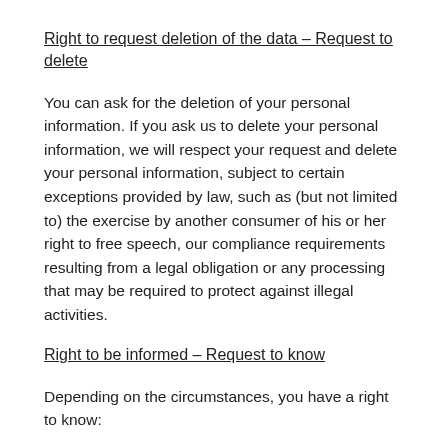Right to request deletion of the data – Request to delete
You can ask for the deletion of your personal information. If you ask us to delete your personal information, we will respect your request and delete your personal information, subject to certain exceptions provided by law, such as (but not limited to) the exercise by another consumer of his or her right to free speech, our compliance requirements resulting from a legal obligation or any processing that may be required to protect against illegal activities.
Right to be informed – Request to know
Depending on the circumstances, you have a right to know:
whether we collect and use your personal